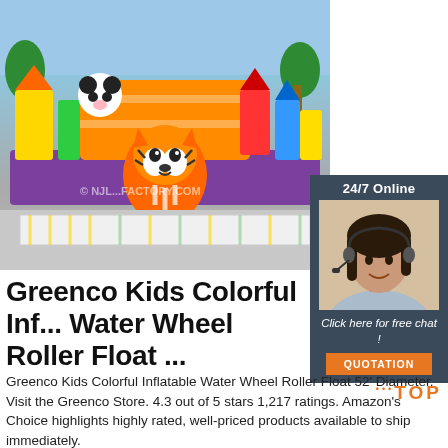[Figure (photo): Colorful inflatable bounce castle/playground with tiger, panda, and palm tree decorations on a concrete surface]
[Figure (photo): 24/7 Online chat widget with a smiling female customer service agent wearing a headset, dark background, with 'Click here for free chat!' text and orange QUOTATION button]
Greenco Kids Colorful Inf... Water Wheel Roller Float ...
Greenco Kids Colorful Inflatable Water Wheel Roller Float 52' Diameter. Visit the Greenco Store. 4.3 out of 5 stars 1,217 ratings. Amazon's Choice highlights highly rated, well-priced products available to ship immediately.